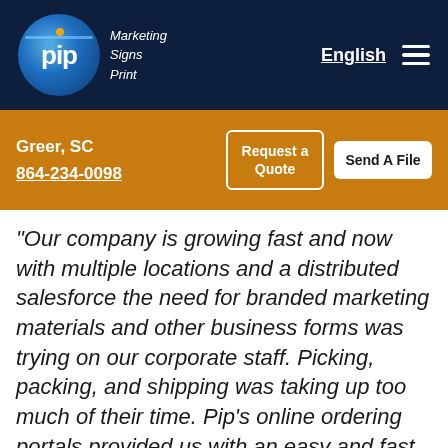pip Marketing Signs Print
Greer, SC
864-234-0098
Request a Quote
Send A File
"Our company is growing fast and now with multiple locations and a distributed salesforce the need for branded marketing materials and other business forms was trying on our corporate staff. Picking, packing, and shipping was taking up too much of their time. Pip’s online ordering portals provided us with an easy and fast online solution all